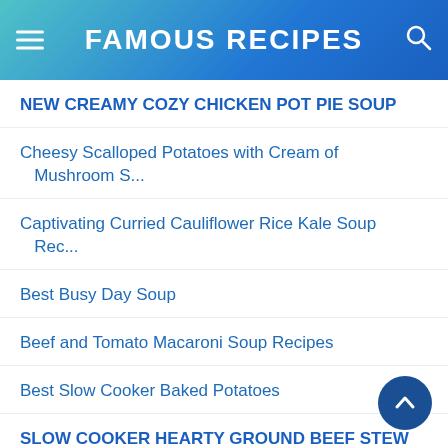FAMOUS RECIPES
NEW CREAMY COZY CHICKEN POT PIE SOUP
Cheesy Scalloped Potatoes with Cream of Mushroom S...
Captivating Curried Cauliflower Rice Kale Soup Rec...
Best Busy Day Soup
Beef and Tomato Macaroni Soup Recipes
Best Slow Cooker Baked Potatoes
SLOW COOKER HEARTY GROUND BEEF STEW RECIPES
SLOW COOKER MEXICAN SHREDDED BEEF RECIPE
Slow Cooker Salisbury Steak Recipes
BEST SLOW COOKER BARBACOA RECIPES